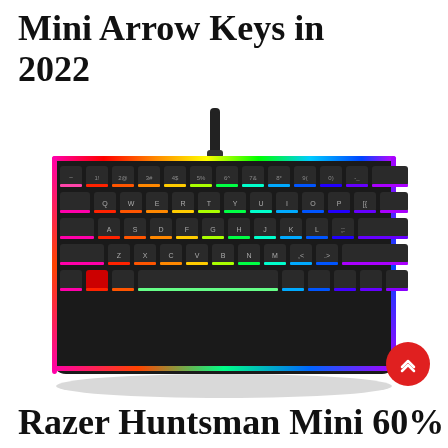Mini Arrow Keys in 2022
[Figure (photo): A Razer Huntsman Mini 60% gaming keyboard with RGB rainbow backlighting, black keycaps, and a USB cable, photographed from above on a white background.]
Razer Huntsman Mini 60% Gaming